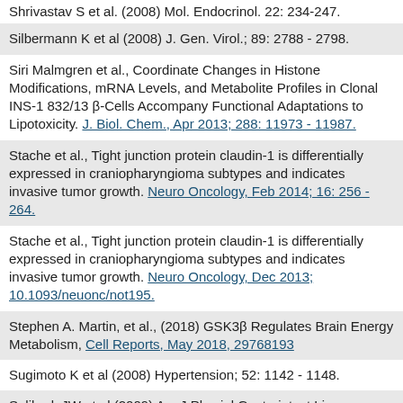Shrivastav S et al. (2008) Mol. Endocrinol. 22: 234-247.
Silbermann K et al (2008) J. Gen. Virol.; 89: 2788 - 2798.
Siri Malmgren et al., Coordinate Changes in Histone Modifications, mRNA Levels, and Metabolite Profiles in Clonal INS-1 832/13 β-Cells Accompany Functional Adaptations to Lipotoxicity. J. Biol. Chem., Apr 2013; 288: 11973 - 11987.
Stache et al., Tight junction protein claudin-1 is differentially expressed in craniopharyngioma subtypes and indicates invasive tumor growth. Neuro Oncology, Feb 2014; 16: 256 - 264.
Stache et al., Tight junction protein claudin-1 is differentially expressed in craniopharyngioma subtypes and indicates invasive tumor growth. Neuro Oncology, Dec 2013; 10.1093/neuonc/not195.
Stephen A. Martin, et al., (2018) GSK3β Regulates Brain Energy Metabolism, Cell Reports, May 2018, 29768193
Sugimoto K et al (2008) Hypertension; 52: 1142 - 1148.
Suliburk JW et al (2009) Am J Physiol Gastrointest Liver Physiol; 296: G1360 - G1369.
Takahashi Y et al (2009) J. Biol. Chem.; 284: 3211 - 3218.
Takahashi Y. et al. (2006) J. Biol. Chem. 281: 21820- 21826.